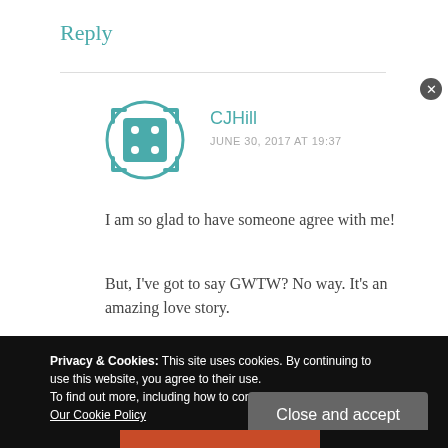Reply
[Figure (illustration): Teal avatar icon with dice face design and corner arrows, for user CJHill]
CJHill
JUNE 30, 2017 AT 19:37
I am so glad to have someone agree with me!
But, I've got to say GWTW? No way. It's an amazing love story.
Privacy & Cookies: This site uses cookies. By continuing to use this website, you agree to their use.
To find out more, including how to control cookies, see here: Our Cookie Policy
Close and accept